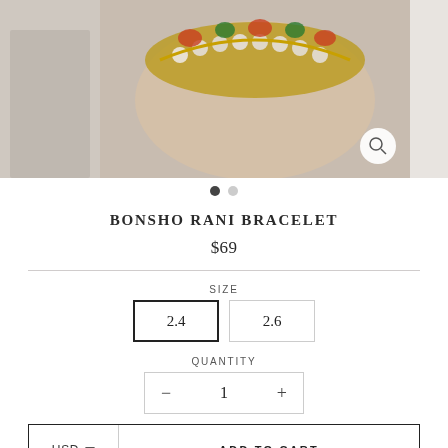[Figure (photo): Close-up photo of a decorative bracelet with pearls and colorful embellishments worn on a wrist, split into two panels — a smaller left panel and a larger main panel with a zoom/search icon button.]
● ○
BONSHO RANI BRACELET
$69
SIZE
2.4   2.6
QUANTITY
− 1 +
USD ▼   ADD TO CART